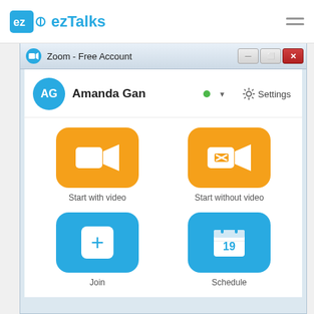[Figure (screenshot): ezTalks website header with logo and hamburger menu, showing a screenshot of the Zoom Free Account desktop application interface with user profile 'Amanda Gan', and four action buttons: Start with video (orange, video camera icon), Start without video (orange, video camera with X icon), Join (blue, plus icon), and Schedule (blue, calendar icon showing 19)]